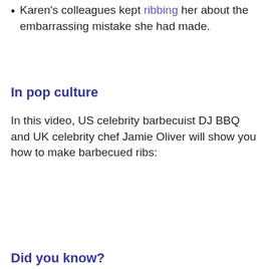Karen's colleagues kept ribbing her about the embarrassing mistake she had made.
In pop culture
In this video, US celebrity barbecuist DJ BBQ and UK celebrity chef Jamie Oliver will show you how to make barbecued ribs:
Did you know?